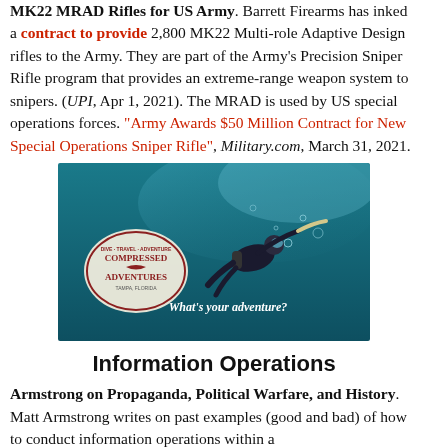MK22 MRAD Rifles for US Army. Barrett Firearms has inked a contract to provide 2,800 MK22 Multi-role Adaptive Design rifles to the Army. They are part of the Army's Precision Sniper Rifle program that provides an extreme-range weapon system to snipers. (UPI, Apr 1, 2021). The MRAD is used by US special operations forces. "Army Awards $50 Million Contract for New Special Operations Sniper Rifle", Military.com, March 31, 2021.
[Figure (photo): Advertisement image showing a scuba diver underwater with the text 'What's your adventure?' and a logo for 'Compressed Adventures, Tampa, Florida']
Information Operations
Armstrong on Propaganda, Political Warfare, and History. Matt Armstrong writes on past examples (good and bad) of how to conduct information operations within a